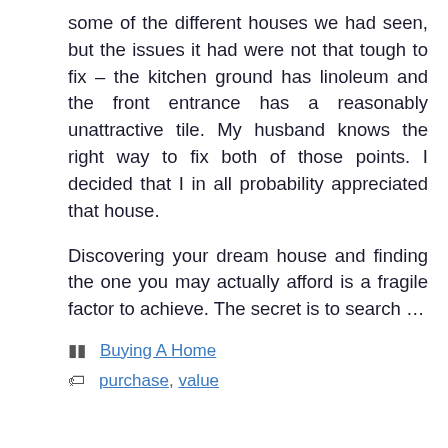some of the different houses we had seen, but the issues it had were not that tough to fix – the kitchen ground has linoleum and the front entrance has a reasonably unattractive tile. My husband knows the right way to fix both of those points. I decided that I in all probability appreciated that house.

Discovering your dream house and finding the one you may actually afford is a fragile factor to achieve. The secret is to search …
Categories: Buying A Home
Tags: purchase, value